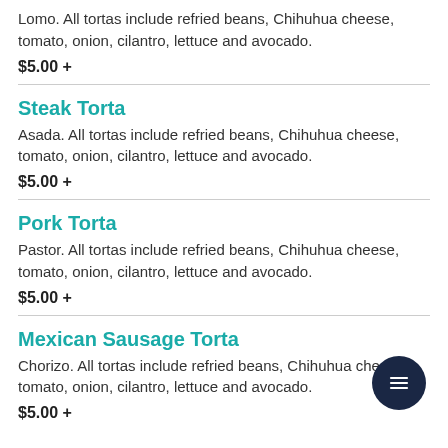Lomo. All tortas include refried beans, Chihuhua cheese, tomato, onion, cilantro, lettuce and avocado.
$5.00 +
Steak Torta
Asada. All tortas include refried beans, Chihuhua cheese, tomato, onion, cilantro, lettuce and avocado.
$5.00 +
Pork Torta
Pastor. All tortas include refried beans, Chihuhua cheese, tomato, onion, cilantro, lettuce and avocado.
$5.00 +
Mexican Sausage Torta
Chorizo. All tortas include refried beans, Chihuhua cheese, tomato, onion, cilantro, lettuce and avocado.
$5.00 +